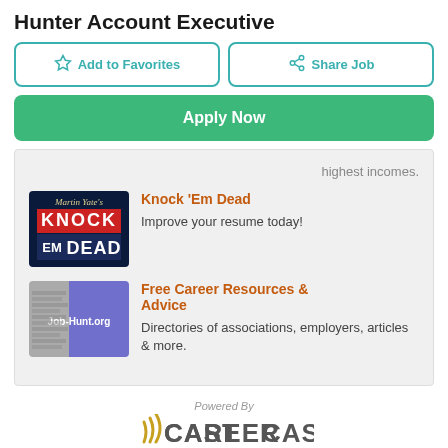Hunter Account Executive
Add to Favorites
Share Job
Apply Now
highest incomes.
[Figure (logo): Martin Yate's Knock Em Dead book cover logo - dark blue background with red and white text]
Knock 'Em Dead
Improve your resume today!
[Figure (logo): Job-Hunt.org logo - purple/lavender background with white text]
Free Career Resources & Advice
Directories of associations, employers, articles & more.
Powered By
[Figure (logo): CareerCast logo with wifi signal icon in gold/yellow]